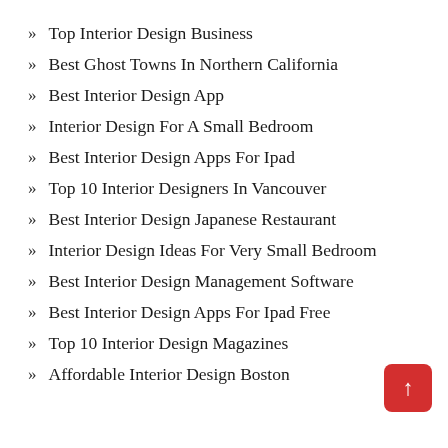Top Interior Design Business
Best Ghost Towns In Northern California
Best Interior Design App
Interior Design For A Small Bedroom
Best Interior Design Apps For Ipad
Top 10 Interior Designers In Vancouver
Best Interior Design Japanese Restaurant
Interior Design Ideas For Very Small Bedroom
Best Interior Design Management Software
Best Interior Design Apps For Ipad Free
Top 10 Interior Design Magazines
Affordable Interior Design Boston